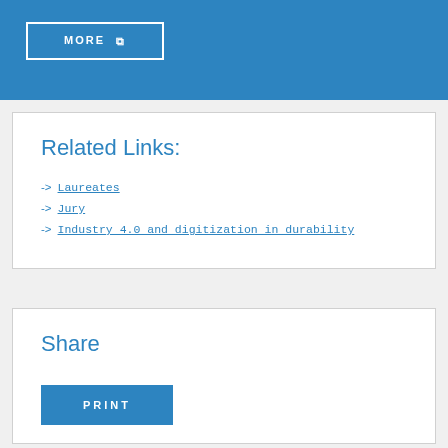[Figure (other): Blue banner section with a 'MORE' button with external link icon]
Related Links:
→ Laureates
→ Jury
→ Industry 4.0 and digitization in durability
Share
PRINT